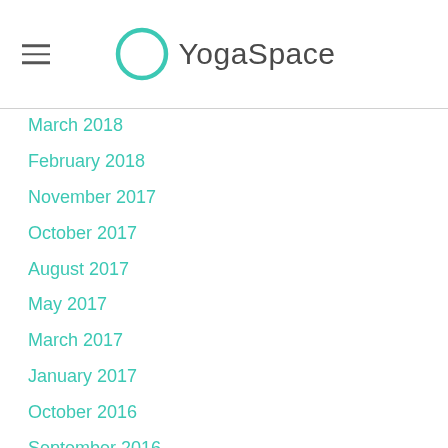YogaSpace
March 2018
February 2018
November 2017
October 2017
August 2017
May 2017
March 2017
January 2017
October 2016
September 2016
May 2016
December 2015
November 2015
September 2015
August 2015
June 2015
March 2015
December 2014